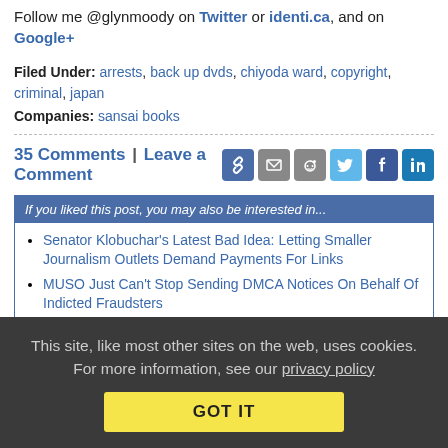Follow me @glynmoody on Twitter or identi.ca, and on Google+
Filed Under: arrests, back up dvds, chiyoda ward, copyright, criminal, japan
Companies: sansai books
35 Comments | Leave a Comment
[Figure (infographic): Row of social sharing icons: link, email, reddit, twitter, facebook, linkedin]
If you liked this post, you may also be interested in...
Senator Klobuchar's Latest Bad Idea: Letting Smaller Journalism Outlets Demand Payments For Links
MUSO Just Can't Stop Sending DMCA Notices On Behalf Of Indicted Fraudsters
Pro Tip: If You're Suing YouTube And Asking For More Time
This site, like most other sites on the web, uses cookies. For more information, see our privacy policy
GOT IT